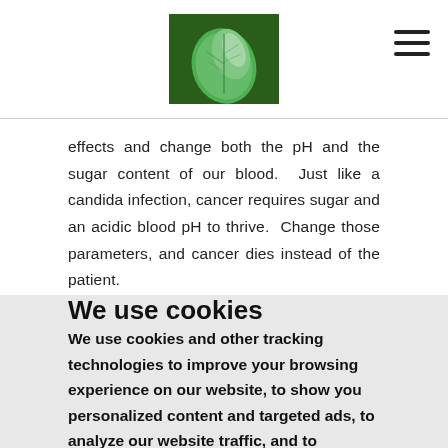[Logo: green leaf image] [Hamburger menu icon]
effects and change both the pH and the sugar content of our blood.  Just like a candida infection, cancer requires sugar and an acidic blood pH to thrive.  Change those parameters, and cancer dies instead of the patient.

So we were not surprised to find that many younger patients (albeit with less healthy eating habits)
We use cookies
We use cookies and other tracking technologies to improve your browsing experience on our website, to show you personalized content and targeted ads, to analyze our website traffic, and to